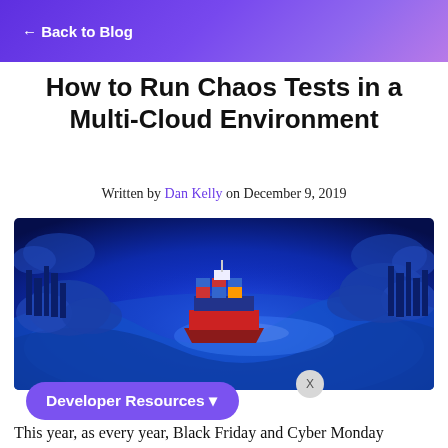← Back to Blog
How to Run Chaos Tests in a Multi-Cloud Environment
Written by Dan Kelly on December 9, 2019
[Figure (illustration): Digital illustration of a cargo container ship sailing through swirling blue clouds and water, with city silhouettes in the background, rendered in a vivid blue color scheme.]
Developer Resources ▾
This year, as every year, Black Friday and Cyber Monday